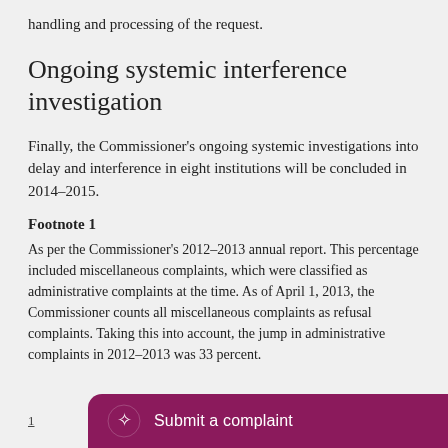handling and processing of the request.
Ongoing systemic interference investigation
Finally, the Commissioner's ongoing systemic investigations into delay and interference in eight institutions will be concluded in 2014–2015.
Footnote 1
As per the Commissioner's 2012–2013 annual report. This percentage included miscellaneous complaints, which were classified as administrative complaints at the time. As of April 1, 2013, the Commissioner counts all miscellaneous complaints as refusal complaints. Taking this into account, the jump in administrative complaints in 2012–2013 was 33 percent.
1  Submit a complaint